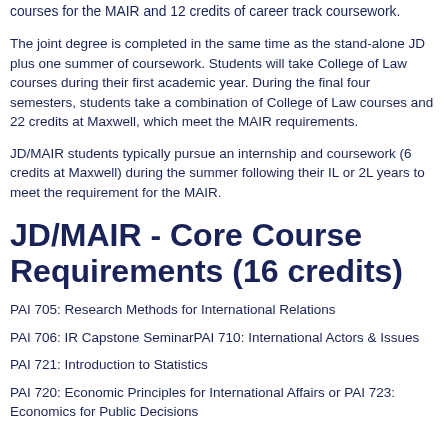courses for the MAIR and 12 credits of career track coursework.
The joint degree is completed in the same time as the stand-alone JD plus one summer of coursework. Students will take College of Law courses during their first academic year. During the final four semesters, students take a combination of College of Law courses and 22 credits at Maxwell, which meet the MAIR requirements.
JD/MAIR students typically pursue an internship and coursework (6 credits at Maxwell) during the summer following their IL or 2L years to meet the requirement for the MAIR.
JD/MAIR - Core Course Requirements (16 credits)
PAI 705: Research Methods for International Relations
PAI 706: IR Capstone SeminarPAI 710: International Actors & Issues
PAI 721: Introduction to Statistics
PAI 720: Economic Principles for International Affairs or PAI 723: Economics for Public Decisions